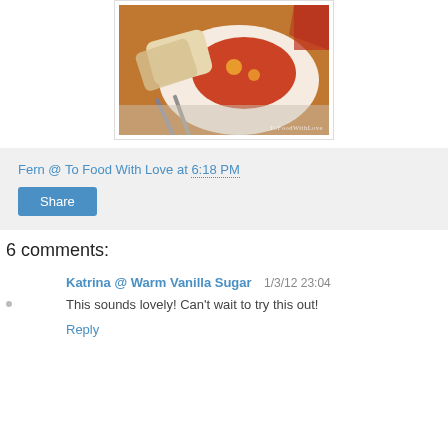[Figure (photo): A white plate with a tomato-based egg dish and bread slices, with silverware on a light napkin. Watermark reads ToFoodWithLove.]
Fern @ To Food With Love at 6:18 PM
Share
6 comments:
Katrina @ Warm Vanilla Sugar 1/3/12 23:04
This sounds lovely! Can't wait to try this out!
Reply